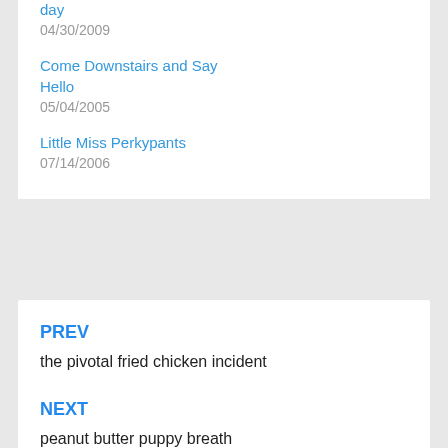day
04/30/2009
Come Downstairs and Say Hello
05/04/2005
Little Miss Perkypants
07/14/2006
PREV
the pivotal fried chicken incident
NEXT
peanut butter puppy breath